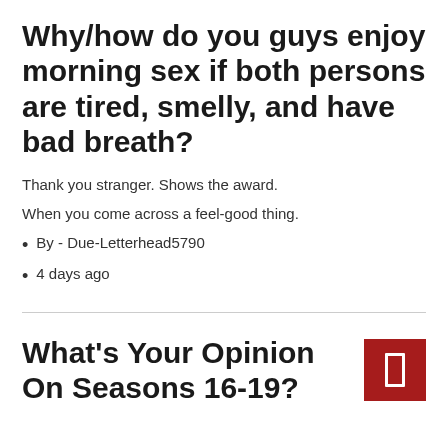Why/how do you guys enjoy morning sex if both persons are tired, smelly, and have bad breath?
Thank you stranger. Shows the award.
When you come across a feel-good thing.
By - Due-Letterhead5790
4 days ago
What's Your Opinion On Seasons 16-19?